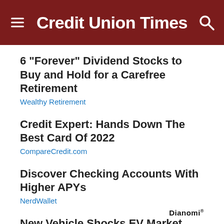Credit Union Times
6 "Forever" Dividend Stocks to Buy and Hold for a Carefree Retirement
Wealthy Retirement
Credit Expert: Hands Down The Best Card Of 2022
CompareCredit.com
Discover Checking Accounts With Higher APYs
NerdWallet
New Vehicle Shocks EV Market
Empire Financial Research
Dianomi